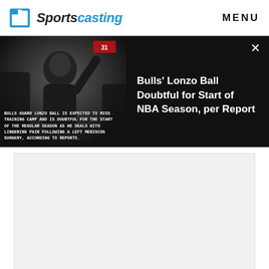Sportscasting   MENU
[Figure (photo): Sports news banner showing a basketball player with overlay text about Bulls Guard Lonzo Ball expected to miss training camp, with headline 'Bulls' Lonzo Ball Doubtful for Start of NBA Season, per Report']
[Figure (other): Advertisement placeholder area (gray box)]
2. Russ Smith — Louisville